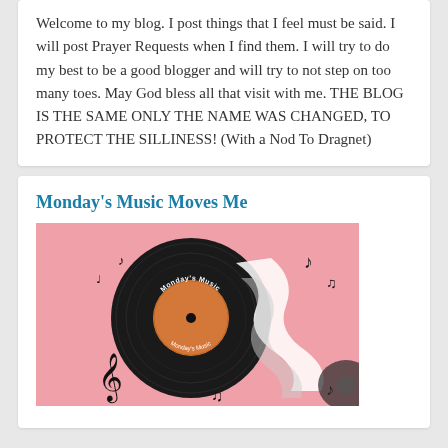Welcome to my blog. I post things that I feel must be said. I will post Prayer Requests when I find them. I will try to do my best to be a good blogger and will try to not step on too many toes. May God bless all that visit with me. THE BLOG IS THE SAME ONLY THE NAME WAS CHANGED, TO PROTECT THE SILLINESS! (With a Nod To Dragnet)
Monday's Music Moves Me
[Figure (illustration): Monday's Music Moves Me blog badge showing a vinyl record with orange label on a pink background with musical notes and a treble clef, with a wavy white music wave graphic]